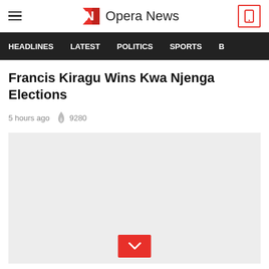Opera News
HEADLINES   LATEST   POLITICS   SPORTS
Francis Kiragu Wins Kwa Njenga Elections
5 hours ago  🔥 9280
[Figure (photo): Light grey image placeholder with a red chevron/down-arrow button centered at the bottom]